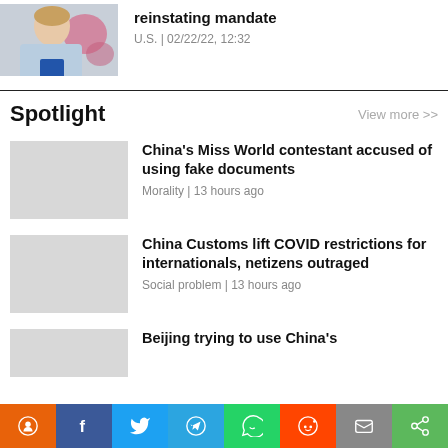[Figure (photo): Headshot of a woman in a light blue blazer with flowers in background]
reinstating mandate
U.S. | 02/22/22, 12:32
Spotlight
View more >>
[Figure (photo): Thumbnail placeholder for Miss World article]
China's Miss World contestant accused of using fake documents
Morality | 13 hours ago
[Figure (photo): Thumbnail placeholder for China Customs article]
China Customs lift COVID restrictions for internationals, netizens outraged
Social problem | 13 hours ago
[Figure (photo): Thumbnail placeholder for Beijing article]
Beijing trying to use China's
[Figure (other): Social share bar with icons: pin, facebook, twitter, telegram, whatsapp, reddit, email, share]